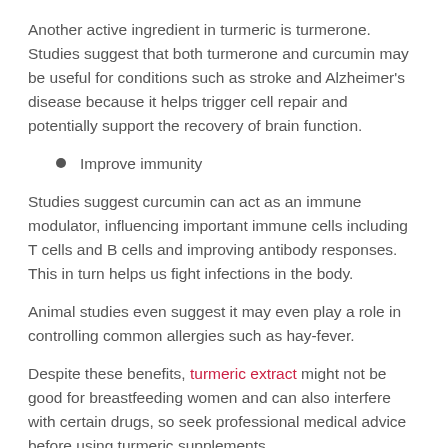Another active ingredient in turmeric is turmerone. Studies suggest that both turmerone and curcumin may be useful for conditions such as stroke and Alzheimer's disease because it helps trigger cell repair and potentially support the recovery of brain function.
Improve immunity
Studies suggest curcumin can act as an immune modulator, influencing important immune cells including T cells and B cells and improving antibody responses. This in turn helps us fight infections in the body.
Animal studies even suggest it may even play a role in controlling common allergies such as hay-fever.
Despite these benefits, turmeric extract might not be good for breastfeeding women and can also interfere with certain drugs, so seek professional medical advice before using turmeric supplements.